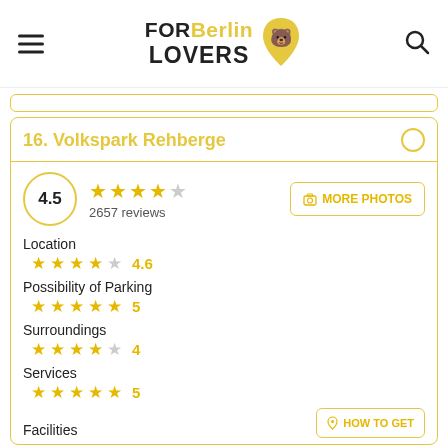FOR Berlin LOVERS
16. Volkspark Rehberge
4.5 — 2657 reviews
MORE PHOTOS
Location 4.6
Possibility of Parking 5
Surroundings 4
Services 5
Facilities — HOW TO GET